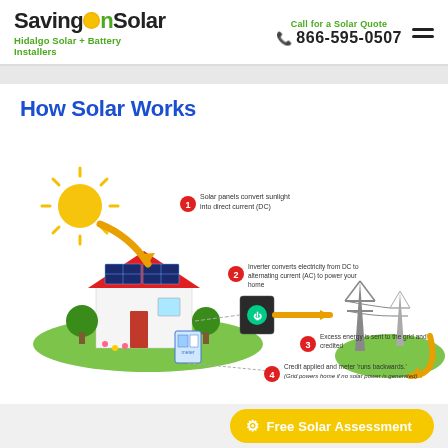SavingOnSolar — Hidalgo Solar + Battery Installers | Call for a Solar Quote 866-595-0507
How Solar Works
[Figure (infographic): How Solar Works infographic showing a house with solar panels on the roof, the sun shining on them, an inverter box, the electricity grid (transmission towers), and numbered steps: 1) Solar panels convert sunlight into direct current (DC). 2) Inverter converts electricity from DC to alternating current (AC) to power your home. 3) Excess energy is sent to the grid and credited. 4) Credit applied and meter 'runs backwards.' (Grid powers home if no solar power is generated)]
Free Solar Assessment